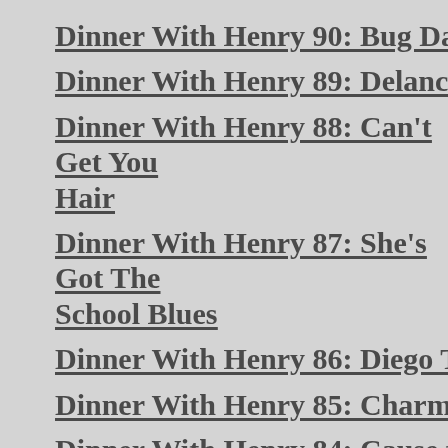Dinner With Henry 90: Bug Day
Dinner With Henry 89: Delanceyville…
Dinner With Henry 88: Can't Get You… Hair
Dinner With Henry 87: She's Got The… School Blues
Dinner With Henry 86: Diego Talks
Dinner With Henry 85: Charm Song
Dinner With Henry 84: Cause for Ala…
Dinner With Henry 83: The Day the M… Still